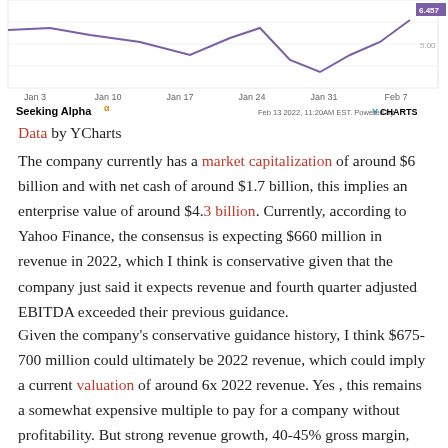[Figure (continuous-plot): Partial stock price line chart with purple line, x-axis showing Jan 3 through Feb 7 dates, Seeking Alpha logo bottom left, YCharts attribution bottom right. Shows end value label of 6.457 and 5.00 gridline on right. Chart is cropped at top.]
Data by YCharts
The company currently has a market capitalization of around $6 billion and with net cash of around $1.7 billion, this implies an enterprise value of around $4.3 billion. Currently, according to Yahoo Finance, the consensus is expecting $660 million in revenue in 2022, which I think is conservative given that the company just said it expects revenue and fourth quarter adjusted EBITDA exceeded their previous guidance.
Given the company's conservative guidance history, I think $675-700 million could ultimately be 2022 revenue, which could imply a current valuation of around 6x 2022 revenue. Yes , this remains a somewhat expensive multiple to pay for a company without profitability. But strong revenue growth, 40-45% gross margin, and the ability to scale with reduced costs give me confidence that